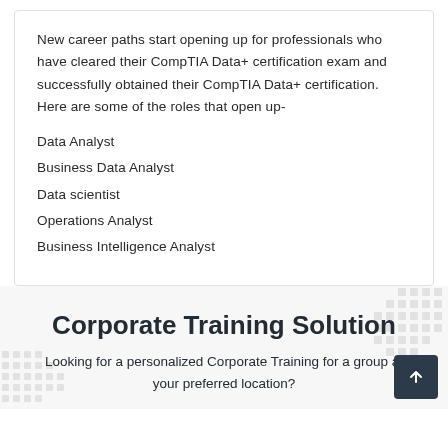New career paths start opening up for professionals who have cleared their CompTIA Data+ certification exam and successfully obtained their CompTIA Data+ certification. Here are some of the roles that open up-
Data Analyst
Business Data Analyst
Data scientist
Operations Analyst
Business Intelligence Analyst
Corporate Training Solution
Looking for a personalized Corporate Training for a group at your preferred location?